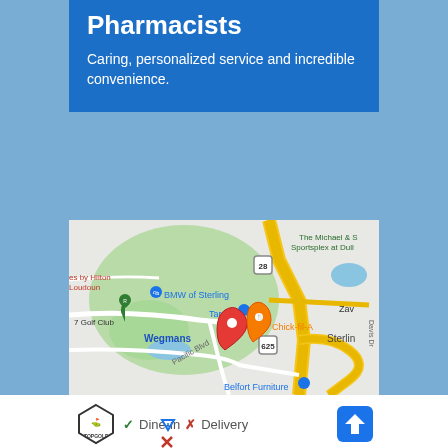Pharmacists
Caring, personalized service and incredible convenience.
[Figure (map): Google Maps screenshot showing Sterling, VA area with landmarks including BMW of Sterling, Target, Wegmans, Chick-fil-A, 7 Golf Club, The Michael & S Sportsplex at Dull, Belfort Furniture, and route 28/625. A red map pin is placed near Wegmans.]
[Figure (logo): Topgolf logo (shield with stylized figure)]
✓ Dine-in  ✗ Delivery
[Figure (other): Blue navigation/directions arrow icon]